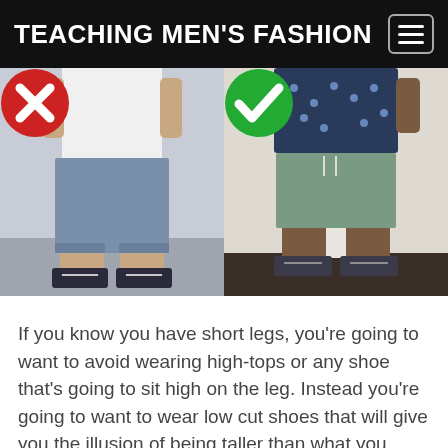TEACHING MEN'S FASHION
[Figure (photo): Side-by-side comparison photo: left side shows a man wearing long denim shorts with a white t-shirt and sneakers, marked with a red X badge (wrong). Right side shows a man wearing shorter green/sage shorts with a dark patterned shirt and sneakers, marked with a green checkmark badge (correct).]
If you know you have short legs, you're going to want to avoid wearing high-tops or any shoe that's going to sit high on the leg. Instead you're going to want to wear low cut shoes that will give you the illusion of being taller than what you really are. For the tall gents out there, you can pretty much pull of